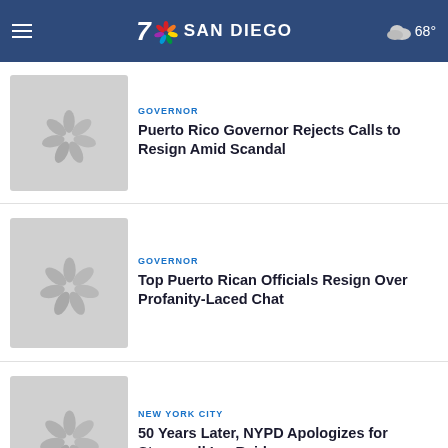NBC 7 San Diego — 68°
[Figure (screenshot): NBC peacock logo thumbnail placeholder]
GOVERNOR
Puerto Rico Governor Rejects Calls to Resign Amid Scandal
[Figure (screenshot): NBC peacock logo thumbnail placeholder]
GOVERNOR
Top Puerto Rican Officials Resign Over Profanity-Laced Chat
[Figure (screenshot): NBC peacock logo thumbnail placeholder with play button]
NEW YORK CITY
50 Years Later, NYPD Apologizes for Stonewall Inn Raid